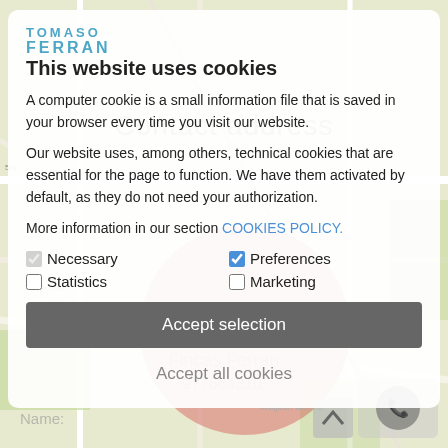[Figure (screenshot): Map background with street layout and a red semi-transparent circle overlay showing a location pin area]
TOMASO FERRAN
This website uses cookies
A computer cookie is a small information file that is saved in your browser every time you visit our website.
Our website uses, among others, technical cookies that are essential for the page to function. We have them activated by default, as they do not need your authorization.
More information in our section COOKIES POLICY.
Necessary (checked)
Preferences (checked)
Statistics (unchecked)
Marketing (unchecked)
Accept selection
Accept all cookies